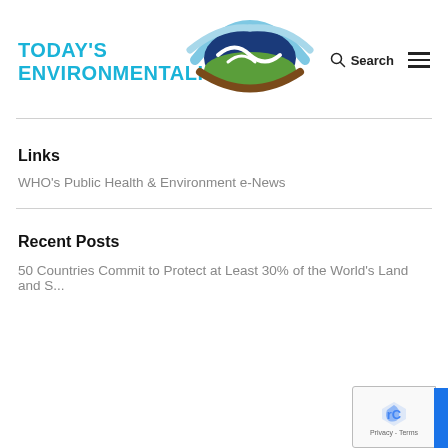[Figure (logo): Today's Environmentalist logo with eye-shaped graphic containing fish and landscape, with cyan brand text]
Links
WHO's Public Health & Environment e-News
Recent Posts
50 Countries Commit to Protect at Least 30% of the World's Land and S...